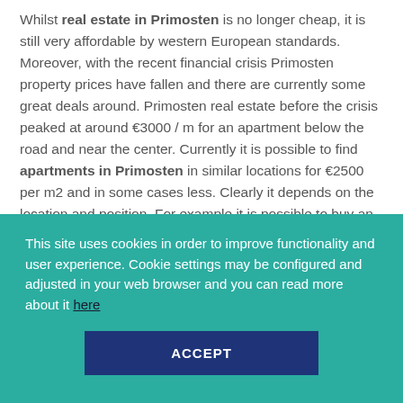Whilst real estate in Primosten is no longer cheap, it is still very affordable by western European standards. Moreover, with the recent financial crisis Primosten property prices have fallen and there are currently some great deals around. Primosten real estate before the crisis peaked at around €3000 / m for an apartment below the road and near the center. Currently it is possible to find apartments in Primosten in similar locations for €2500 per m2 and in some cases less. Clearly it depends on the location and position. For example it is possible to buy an Apartment in Primosten above the road and with a sea view for under €2000 per m2 now.
Land in Primosten in the best locations and next to the sea is selling a little below peak but due to a limited supply and continuing demand
This site uses cookies in order to improve functionality and user experience. Cookie settings may be configured and adjusted in your web browser and you can read more about it here
ACCEPT